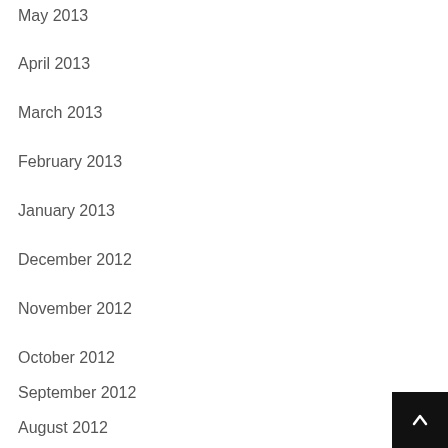May 2013
April 2013
March 2013
February 2013
January 2013
December 2012
November 2012
October 2012
September 2012
August 2012